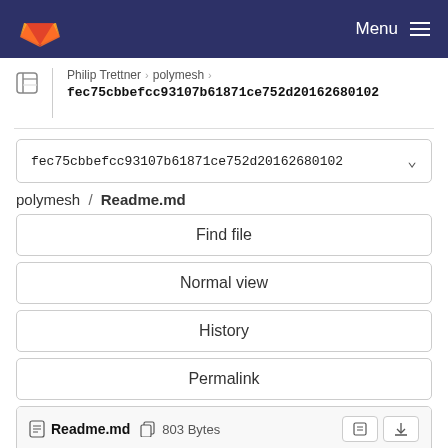Menu
Philip Trettner > polymesh > fec75cbbefcc93107b61871ce752d20162680102
fec75cbbefcc93107b61871ce752d20162680102
polymesh / Readme.md
Find file
Normal view
History
Permalink
Readme.md 803 Bytes
Newer Older